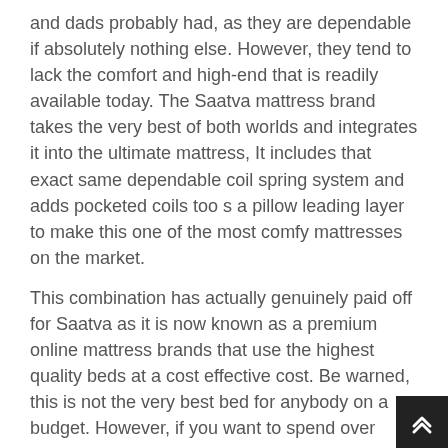and dads probably had, as they are dependable if absolutely nothing else. However, they tend to lack the comfort and high-end that is readily available today. The Saatva mattress brand takes the very best of both worlds and integrates it into the ultimate mattress, It includes that exact same dependable coil spring system and adds pocketed coils too s a pillow leading layer to make this one of the most comfy mattresses on the market.
This combination has actually genuinely paid off for Saatva as it is now known as a premium online mattress brands that use the highest quality beds at a cost effective cost. Be warned, this is not the very best bed for anybody on a budget. However, if you want to spend over $1,000 for a bed it may be worth it.